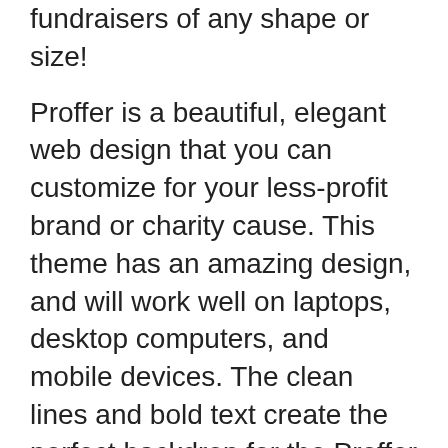fundraisers of any shape or size!
Proffer is a beautiful, elegant web design that you can customize for your less-profit brand or charity cause. This theme has an amazing design, and will work well on laptops, desktop computers, and mobile devices. The clean lines and bold text create the perfect backdrop for the Proffer name – standing out without being aggressive or loud. If you would like to build a website for your nonprofit organization with all of the features you need specifically for this type of goal, download it now!
Want to make the most of every donation? Start by making a good impression with high-quality design. With minimalistic layout